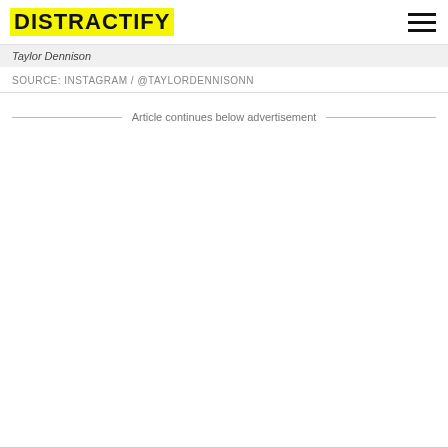DISTRACTIFY
Taylor Dennison
SOURCE: INSTAGRAM / @TAYLORDENNISONN
Article continues below advertisement